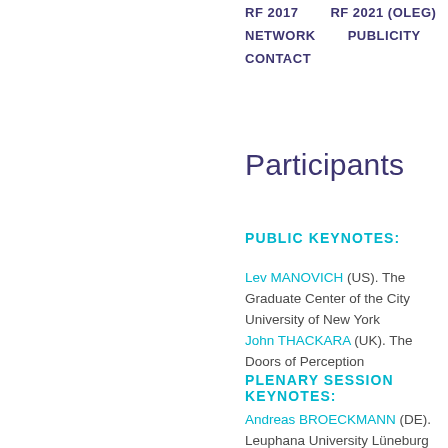RF 2017   RF 2021 (OLEG)
NETWORK   PUBLICITY
CONTACT
Participants
PUBLIC KEYNOTES:
Lev MANOVICH (US). The Graduate Center of the City University of New York
John THACKARA (UK). The Doors of Perception
PLENARY SESSION KEYNOTES:
Andreas BROECKMANN (DE). Leuphana University Lüneburg